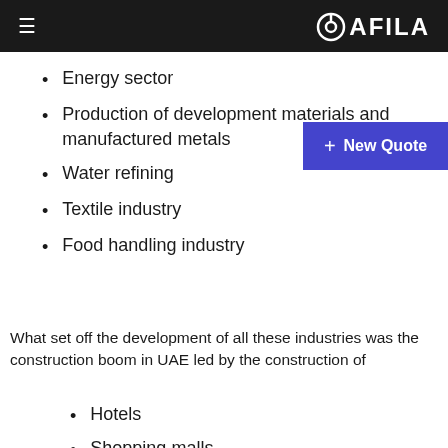QAFILA
Energy sector
Production of development materials and manufactured metals
Water refining
Textile industry
Food handling industry
What set off the development of all these industries was the construction boom in UAE led by the construction of
Hotels
Shopping malls